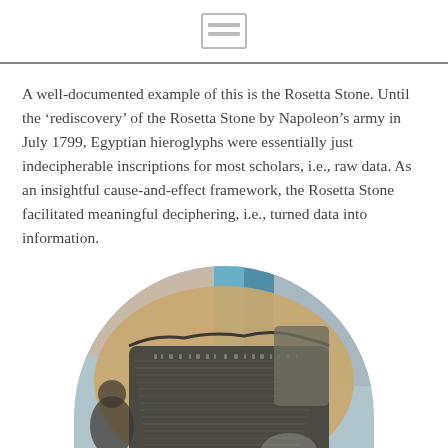A well-documented example of this is the Rosetta Stone. Until the ‘rediscovery’ of the Rosetta Stone by Napoleon’s army in July 1799, Egyptian hieroglyphs were essentially just indecipherable inscriptions for most scholars, i.e., raw data. As an insightful cause-and-effect framework, the Rosetta Stone facilitated meaningful deciphering, i.e., turned data into information.
[Figure (photo): Circular cropped photograph of the Rosetta Stone on display, showing dense inscriptions on dark stone, partially cut off at the bottom of the page, with a blurred museum background.]